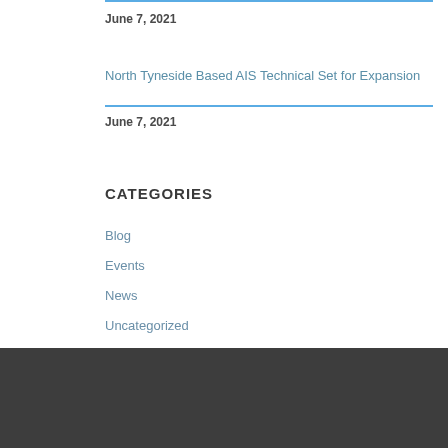June 7, 2021
North Tyneside Based AIS Technical Set for Expansion
June 7, 2021
CATEGORIES
Blog
Events
News
Uncategorized
OUR OFFICES
Invest North Tyneside